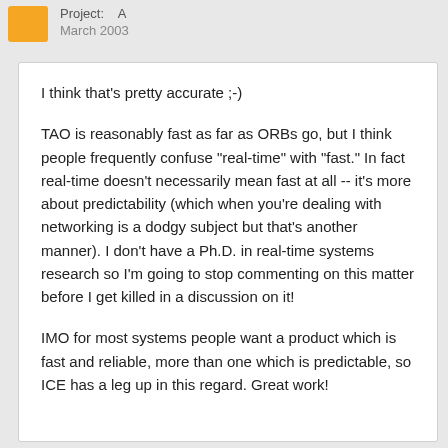Project: A
March 2003
I think that's pretty accurate ;-)
TAO is reasonably fast as far as ORBs go, but I think people frequently confuse "real-time" with "fast." In fact real-time doesn't necessarily mean fast at all -- it's more about predictability (which when you're dealing with networking is a dodgy subject but that's another manner). I don't have a Ph.D. in real-time systems research so I'm going to stop commenting on this matter before I get killed in a discussion on it!
IMO for most systems people want a product which is fast and reliable, more than one which is predictable, so ICE has a leg up in this regard. Great work!